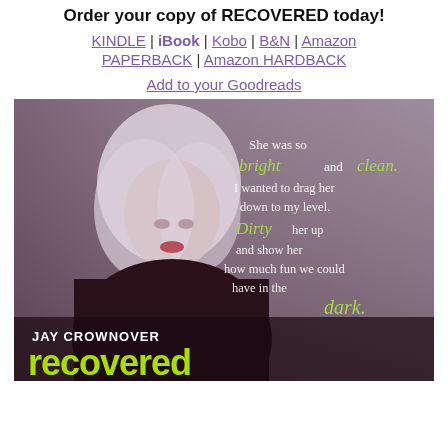Order your copy of RECOVERED today!
KINDLE | iBook | Kobo | B&N | Amazon PAPERBACK | Amazon HARDBACK
Add to your Goodreads
[Figure (photo): Book promotional image for 'Recovered' by Jay Crownover. Shows a woman with a white bob haircut against a muted purple-gray background. Text overlay reads: 'She was so bright and clean. I wanted to drag her down to my level. Dirty her up and show her how much fun we could have in the dark.' Author name JAY CROWNOVER and book title 'recovered' in bright yellow-green appear at the bottom.]